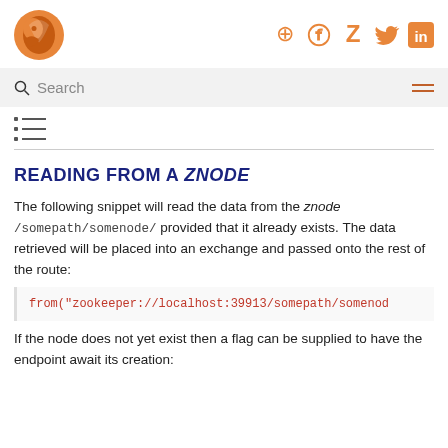Logo and social icons: GitHub, Zulip, Twitter, LinkedIn
Search
[Figure (other): TOC/list icon]
READING FROM A ZNODE
The following snippet will read the data from the znode /somepath/somenode/ provided that it already exists. The data retrieved will be placed into an exchange and passed onto the rest of the route:
from("zookeeper://localhost:39913/somepath/somenod
If the node does not yet exist then a flag can be supplied to have the endpoint await its creation: